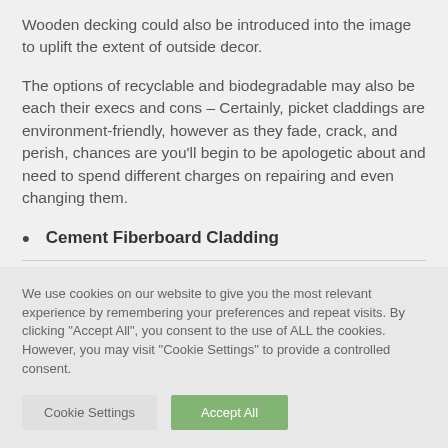Wooden decking could also be introduced into the image to uplift the extent of outside decor.
The options of recyclable and biodegradable may also be each their execs and cons – Certainly, picket claddings are environment-friendly, however as they fade, crack, and perish, chances are you'll begin to be apologetic about and need to spend different charges on repairing and even changing them.
Cement Fiberboard Cladding
We use cookies on our website to give you the most relevant experience by remembering your preferences and repeat visits. By clicking "Accept All", you consent to the use of ALL the cookies. However, you may visit "Cookie Settings" to provide a controlled consent.